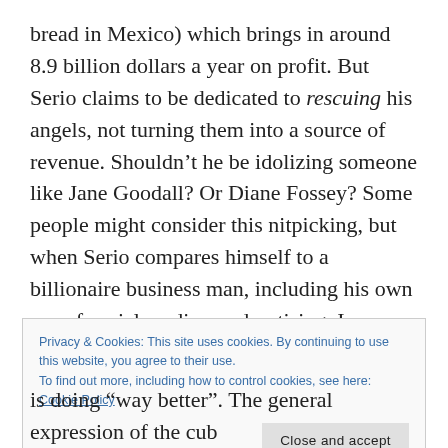bread in Mexico) which brings in around 8.9 billion dollars a year on profit. But Serio claims to be dedicated to rescuing his angels, not turning them into a source of revenue. Shouldn't he be idolizing someone like Jane Goodall? Or Diane Fossey? Some people might consider this nitpicking, but when Serio compares himself to a billionaire business man, including his own use of social media as advertising, I see nothing but someone who is building a business on the backs of exploited animals.
Privacy & Cookies: This site uses cookies. By continuing to use this website, you agree to their use.
To find out more, including how to control cookies, see here: Cookie Policy
is doing “way better”. The general expression of the cub